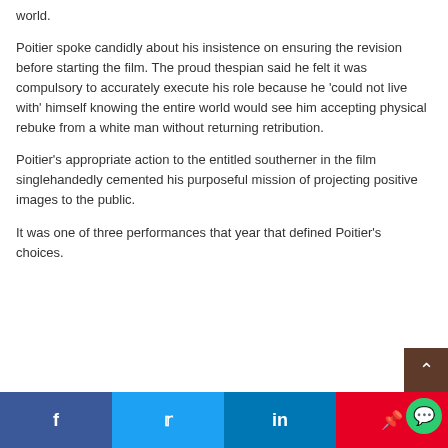world.
Poitier spoke candidly about his insistence on ensuring the revision before starting the film. The proud thespian said he felt it was compulsory to accurately execute his role because he 'could not live with' himself knowing the entire world would see him accepting physical rebuke from a white man without returning retribution.
Poitier's appropriate action to the entitled southerner in the film singlehandedly cemented his purposeful mission of projecting positive images to the public.
It was one of three performances that year that defined Poitier's choices.
f  t  in  p